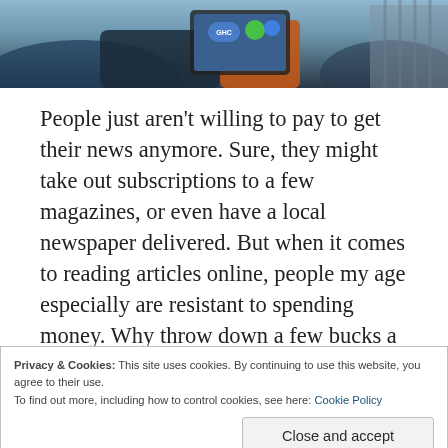[Figure (photo): Photo of people sitting on a couch, one person holding a tablet device with colorful icons/logos visible on screen. Partial view showing torsos and hands.]
People just aren't willing to pay to get their news anymore. Sure, they might take out subscriptions to a few magazines, or even have a local newspaper delivered. But when it comes to reading articles online, people my age especially are resistant to spending money. Why throw down a few bucks a month for a subscription to a national newspaper when there are so many other news websites out there offering “free” access?
Privacy & Cookies: This site uses cookies. By continuing to use this website, you agree to their use.
To find out more, including how to control cookies, see here: Cookie Policy
Close and accept
past few years, my method of getting around